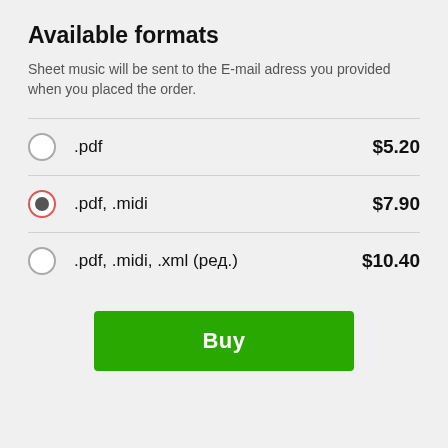Available formats
Sheet music will be sent to the E-mail adress you provided when you placed the order.
.pdf   $5.20
.pdf, .midi   $7.90
.pdf, .midi, .xml (ред.)   $10.40
[Figure (other): Green Buy button]